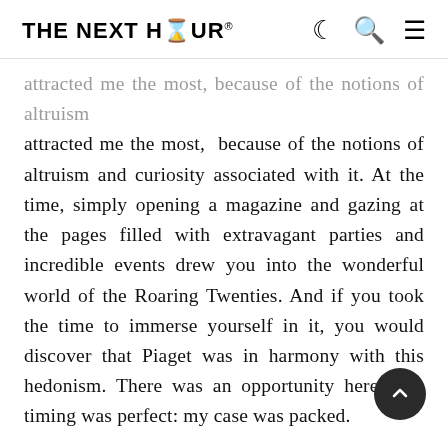THE NEXT HOUR®
attracted me the most, because of the notions of altruism and curiosity associated with it. At the time, simply opening a magazine and gazing at the pages filled with extravagant parties and incredible events drew you into the wonderful world of the Roaring Twenties. And if you took the time to immerse yourself in it, you would discover that Piaget was in harmony with this hedonism. There was an opportunity here. The timing was perfect: my case was packed.
Traveling the world was something of a natural progression for me. I went off to meet our clients and I established dialogues in the manner of those painters and sculptors to present their works directly to collectors. In the late 1960s, I